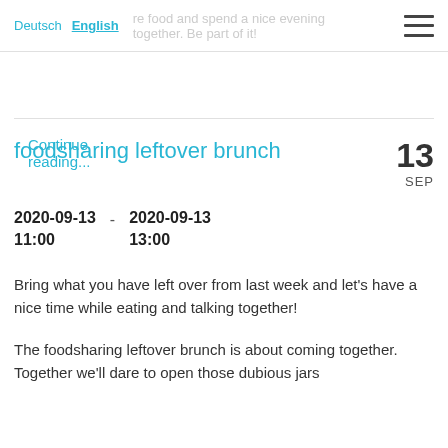Deutsch  English  …share food and spend a nice evening together. Be part of it!
Continue reading...
foodsharing leftover brunch
2020-09-13  2020-09-13
11:00  -  13:00
Bring what you have left over from last week and let's have a nice time while eating and talking together!
The foodsharing leftover brunch is about coming together. Together we'll dare to open those dubious jars